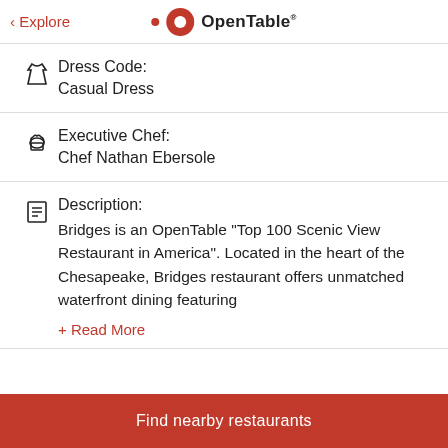< Explore  OpenTable®
Dress Code:
Casual Dress
Executive Chef:
Chef Nathan Ebersole
Description:
Bridges is an OpenTable "Top 100 Scenic View Restaurant in America". Located in the heart of the Chesapeake, Bridges restaurant offers unmatched waterfront dining featuring
+ Read More
Find nearby restaurants